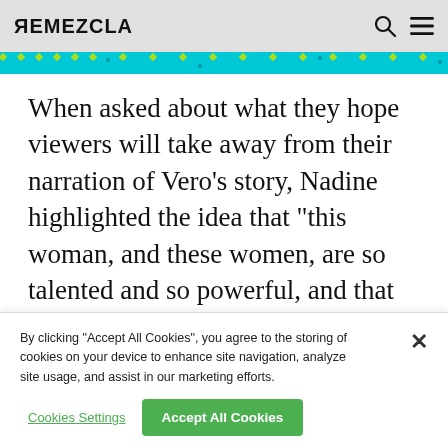REMEZCLA
When asked about what they hope viewers will take away from their narration of Vero’s story, Nadine highlighted the idea that “this woman, and these women, are so talented and so powerful, and that despite the odds they face in just doing the sports that they love – by being girls on all boys teams, or for Vero the only girl in her entire region – despite those
By clicking “Accept All Cookies”, you agree to the storing of cookies on your device to enhance site navigation, analyze site usage, and assist in our marketing efforts.
Cookies Settings | Accept All Cookies